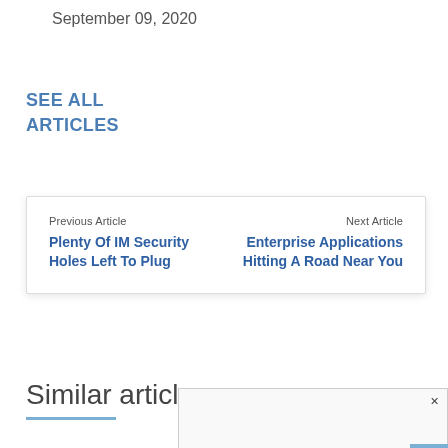September 09, 2020
SEE ALL
ARTICLES
Previous Article
Plenty Of IM Security Holes Left To Plug
Next Article
Enterprise Applications Hitting A Road Near You
Similar articles